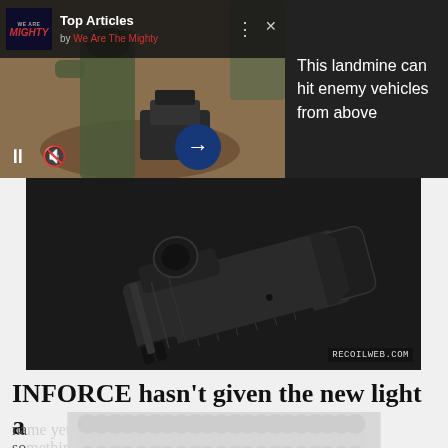[Figure (screenshot): Mobile web page showing a 'We Are The Mighty' top articles widget with a video of soldiers in desert camouflage. Dark panel on right with text: 'This landmine can hit enemy vehicles from above'. Video playback controls visible at bottom left, arrow/next button at bottom center.]
[Figure (photo): Close-up photo of a black tactical weapon light/flashlight accessory (appears to be an INFORCE brand weapon light) on a gray surface. Watermark 'RECOILWEB.COM' in lower right.]
INFORCE hasn't given the new light a
na                                            e so
[Figure (other): Advertisement banner with gray background and repeated circular logo/pattern motif overlay]